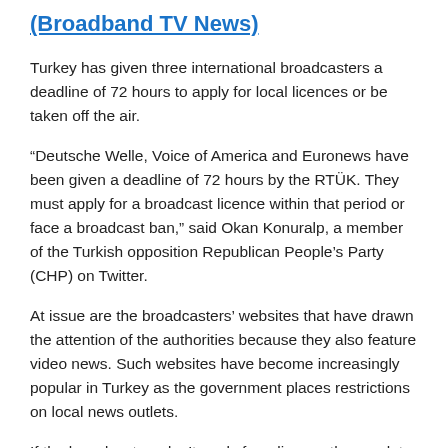(Broadband TV News)
Turkey has given three international broadcasters a deadline of 72 hours to apply for local licences or be taken off the air.
“Deutsche Welle, Voice of America and Euronews have been given a deadline of 72 hours by the RTÜK. They must apply for a broadcast licence within that period or face a broadcast ban,” said Okan Konuralp, a member of the Turkish opposition Republican People’s Party (CHP) on Twitter.
At issue are the broadcasters’ websites that have drawn the attention of the authorities because they also feature video news. Such websites have become increasingly popular in Turkey as the government places restrictions on local news outlets.
If the broadcasters don’t apply for a licence the regulator has the right to go to court and get the website closed